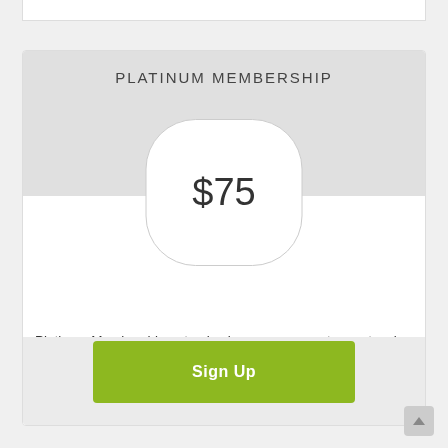PLATINUM MEMBERSHIP
$75
Platinum Membership not only gives you access to a network of golfers and great fellowship, but gives additional supporting dollars to expand the number of scholarships awarded to deserving youth.
Sign Up